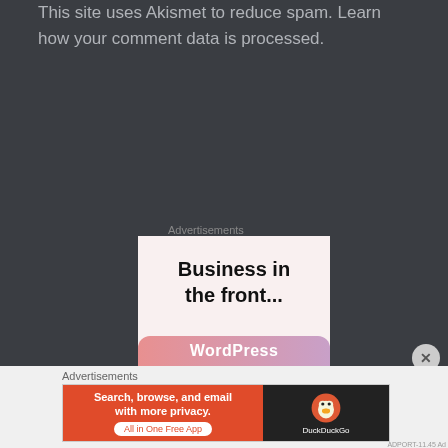This site uses Akismet to reduce spam. Learn how your comment data is processed.
Advertisements
[Figure (screenshot): Advertisement box with text 'Business in the front...' and WordPress branding at the bottom]
[Figure (screenshot): Close button (X circle) in bottom right]
Advertisements
[Figure (screenshot): DuckDuckGo advertisement banner: 'Search, browse, and email with more privacy. All in One Free App' with DuckDuckGo logo on dark right side]